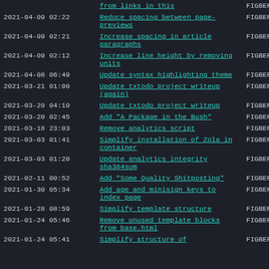| Date | Commit | Author |
| --- | --- | --- |
|  | from links in this | FIGBERT |
| 2021-04-09 02:22 | Reduce spacing between page-previews | FIGBERT |
| 2021-04-09 02:21 | Increase spacing in article paragraphs | FIGBERT |
| 2021-04-09 02:12 | Increase line height by removing units | FIGBERT |
| 2021-04-08 06:49 | Update syntax highlighting theme | FIGBERT |
| 2021-03-21 01:00 | Update txtodo project writeup (again) | FIGBERT |
| 2021-03-20 04:10 | Update txtodo project writeup | FIGBERT |
| 2021-03-20 02:45 | Add "A Package in the Bush" | FIGBERT |
| 2021-03-18 23:03 | Remove analytics script | FIGBERT |
| 2021-03-03 01:41 | Simplify installation of Zola in container | FIGBERT |
| 2021-03-03 01:20 | Update analytics integrity sha384sum | FIGBERT |
| 2021-02-11 00:52 | Add "Some Quality Shitposting" | FIGBERT |
| 2021-01-30 05:34 | Add age and minisign keys to index page | FIGBERT |
| 2021-01-28 08:59 | Simplify template structure | FIGBERT |
| 2021-01-24 05:46 | Remove unused template blocks from base.html | FIGBERT |
| 2021-01-24 05:41 | Simplify structure of | FIGBERT |